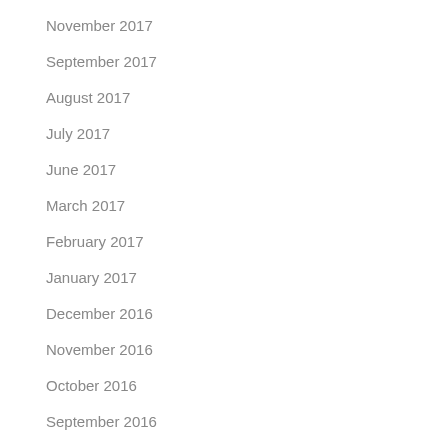November 2017
September 2017
August 2017
July 2017
June 2017
March 2017
February 2017
January 2017
December 2016
November 2016
October 2016
September 2016
August 2016
July 2016